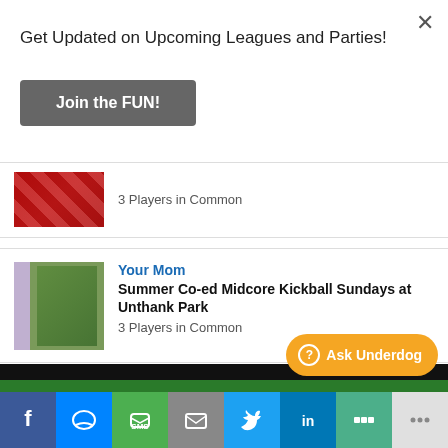×
Get Updated on Upcoming Leagues and Parties!
Join the FUN!
3 Players in Common
Your Mom
Summer Co-ed Midcore Kickball Sundays at Unthank Park
3 Players in Common
Team Sparkle Motion
Winter Co-ed Kickball Sunday Afternoons at Cleveland High School
3 Players in Common
Ask Underdog